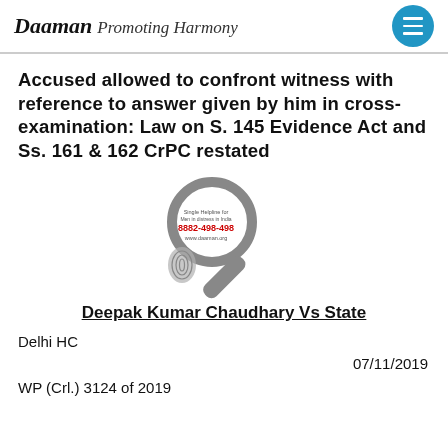Daaman Promoting Harmony
Accused allowed to confront witness with reference to answer given by him in cross-examination: Law on S. 145 Evidence Act and Ss. 161 & 162 CrPC restated
[Figure (logo): Magnifying glass illustration with fingerprint and Daaman helpline number 8882-498-498 and www.daaman.org]
Deepak Kumar Chaudhary Vs State
Delhi HC
07/11/2019
WP (Crl.) 3124 of 2019